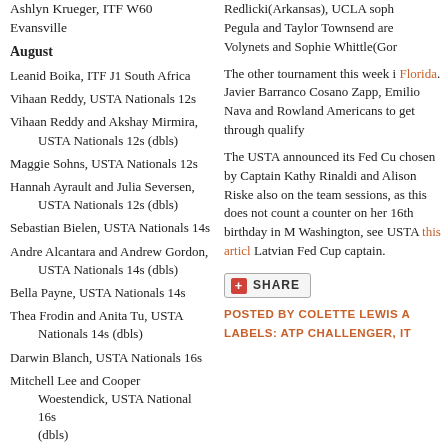Ashlyn Krueger, ITF W60 Evansville
August
Leanid Boika, ITF J1 South Africa
Vihaan Reddy, USTA Nationals 12s
Vihaan Reddy and Akshay Mirmira, USTA Nationals 12s (dbls)
Maggie Sohns, USTA Nationals 12s
Hannah Ayrault and Julia Seversen, USTA Nationals 12s (dbls)
Sebastian Bielen, USTA Nationals 14s
Andre Alcantara and Andrew Gordon, USTA Nationals 14s (dbls)
Bella Payne, USTA Nationals 14s
Thea Frodin and Anita Tu, USTA Nationals 14s (dbls)
Darwin Blanch, USTA Nationals 16s
Mitchell Lee and Cooper Woestendick, USTA National 16s (dbls)
Redlicki(Arkansas), UCLA soph... Pegula and Taylor Townsend are Volynets and Sophie Whittle(Gor
The other tournament this week i Florida. Javier Barranco Cosano Zapp, Emilio Nava and Rowland Americans to get through qualify
The USTA announced its Fed Cu chosen by Captain Kathy Rinaldi and Alison Riske also on the team sessions, as this does not count a counter on her 16th birthday in M Washington, see USTA this article Latvian Fed Cup captain.
[Figure (other): Share button with red plus icon and SHARE label]
POSTED BY COLETTE LEWIS A
LABELS: ATP CHALLENGER, IT